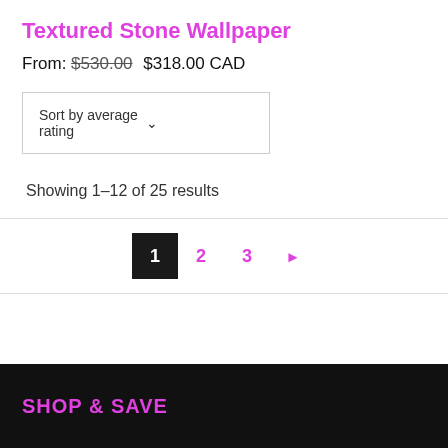Textured Stone Wallpaper
From: $530.00  $318.00 CAD
Sort by average rating
Showing 1–12 of 25 results
1  2  3  ▶
SHOP & SAVE